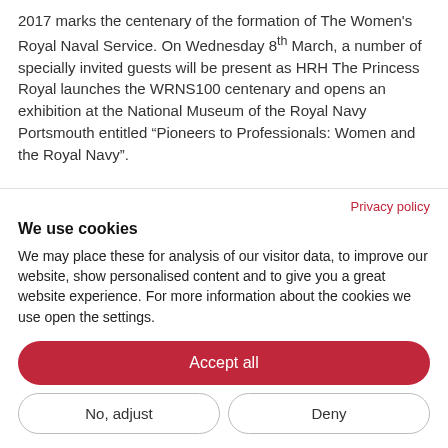2017 marks the centenary of the formation of The Women's Royal Naval Service. On Wednesday 8th March, a number of specially invited guests will be present as HRH The Princess Royal launches the WRNS100 centenary and opens an exhibition at the National Museum of the Royal Navy Portsmouth entitled “Pioneers to Professionals: Women and the Royal Navy”.
Privacy policy
We use cookies
We may place these for analysis of our visitor data, to improve our website, show personalised content and to give you a great website experience. For more information about the cookies we use open the settings.
Accept all
No, adjust
Deny